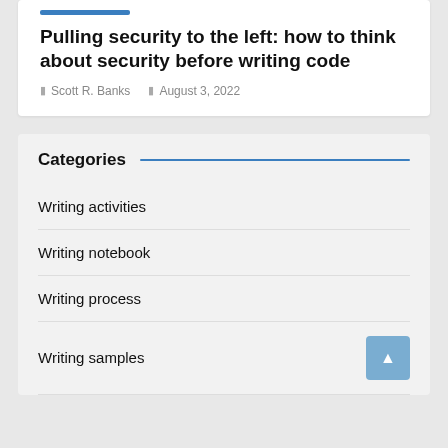Pulling security to the left: how to think about security before writing code
Scott R. Banks   August 3, 2022
Categories
Writing activities
Writing notebook
Writing process
Writing samples